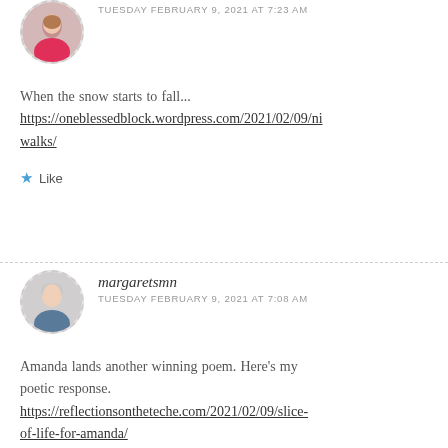[Figure (photo): Circular avatar photo of a woman in a pink top, with dashed circular border]
TUESDAY FEBRUARY 9, 2021 AT 7:23 AM
When the snow starts to fall...
https://oneblessedblock.wordpress.com/2021/02/09/ni walks/
★ Like
[Figure (photo): Circular avatar photo of an older woman with short gray hair, with dashed circular border]
margaretsmn
TUESDAY FEBRUARY 9, 2021 AT 7:08 AM
Amanda lands another winning poem. Here's my poetic response.
https://reflectionsontheteche.com/2021/02/09/slice-of-life-for-amanda/